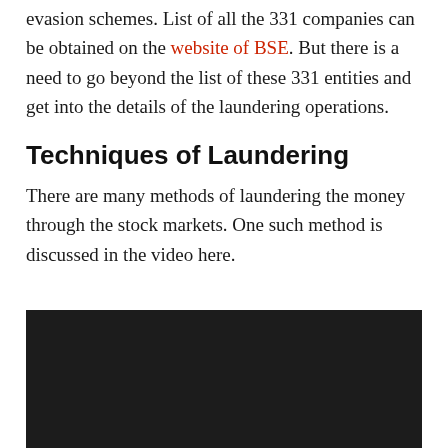evasion schemes. List of all the 331 companies can be obtained on the website of BSE. But there is a need to go beyond the list of these 331 entities and get into the details of the laundering operations.
Techniques of Laundering
There are many methods of laundering the money through the stock markets. One such method is discussed in the video here.
[Figure (screenshot): Black video player embed area]